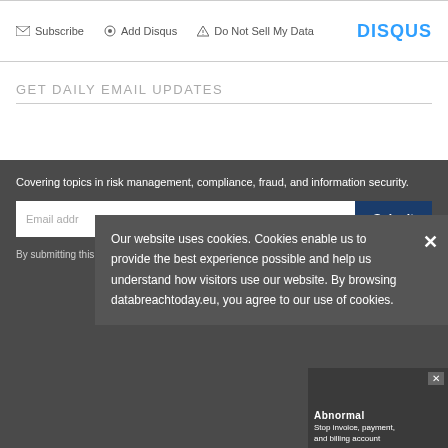Subscribe | Add Disqus | Do Not Sell My Data | DISQUS
GET DAILY EMAIL UPDATES
Covering topics in risk management, compliance, fraud, and information security.
Email address [Submit button]
By submitting this form you agree to our Privacy & GDPR Statement.
Our website uses cookies. Cookies enable us to provide the best experience possible and help us understand how visitors use our website. By browsing databreachtoday.eu, you agree to our use of cookies.
[Figure (screenshot): Ad banner showing Abnormal logo and text 'Stop invoice, payment, and billing account...' with a person's photo]
Abnormal
Stop invoice, payment, and billing account